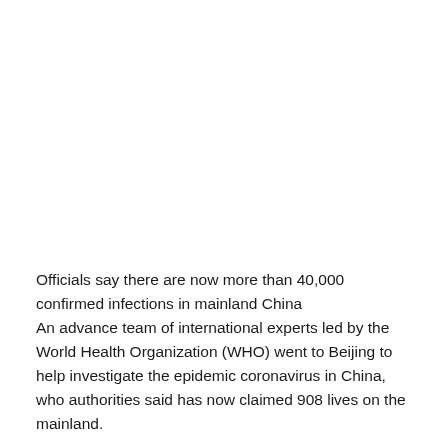Officials say there are now more than 40,000 confirmed infections in mainland China
An advance team of international experts led by the World Health Organization (WHO) went to Beijing to help investigate the epidemic coronavirus in China, who authorities said has now claimed 908 lives on the mainland.